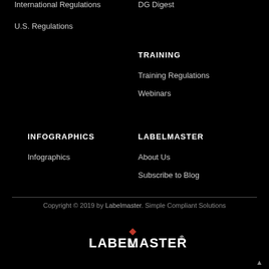International Regulations
DG Digest
U.S. Regulations
TRAINING
Training Regulations
Webinars
INFOGRAPHICS
LABELMASTER
Infographics
About Us
Subscribe to Blog
Copyright © 2019 by Labelmaster. Simple Compliant Solutions
[Figure (logo): Labelmaster logo in white with red diamond accent]